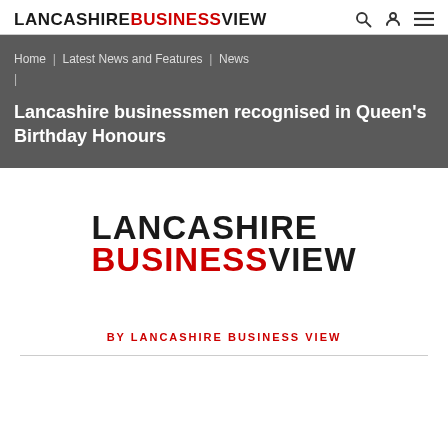LANCASHIRE BUSINESSVIEW
Home | Latest News and Features | News |
Lancashire businessmen recognised in Queen's Birthday Honours
[Figure (logo): Lancashire Business View logo — 'LANCASHIRE' in black bold, 'BUSINESS' in red bold, 'VIEW' in black bold, stacked]
BY LANCASHIRE BUSINESS VIEW